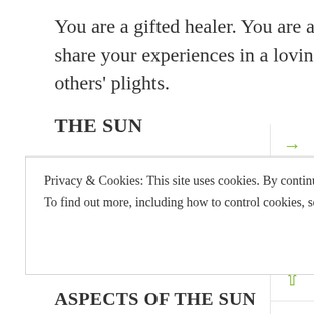You are a gifted healer. You are able to face the painful side of life and share your experiences in a loving manner. You feel compassion for others' plights.
THE SUN
THE SUN IN SAGITTARIUS
You are a sunny and adventurous individual. You are optimistic and philosophical, and may tend to bluntness.
Privacy & Cookies: This site uses cookies. By continuing to use this website, you agree to their use.
To find out more, including how to control cookies, see here: Cookie Policy
ASPECTS OF THE SUN